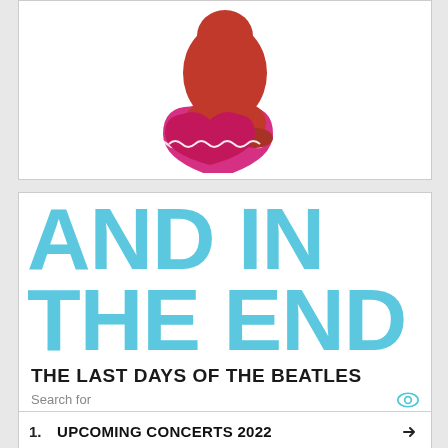[Figure (photo): Red figurine/toy with rounded cartoon-like body standing on a pink heart-shaped base with white decorative edge trim]
[Figure (infographic): Advertisement panel with large light blue bold text reading 'AND IN THE END', subtitle 'THE LAST DAYS OF THE BEATLES', followed by a search bar and two list items: 1. UPCOMING CONCERTS 2022, 2. PINK FLOYD CONCERT]
AND IN THE END
THE LAST DAYS OF THE BEATLES
Search for
1. UPCOMING CONCERTS 2022
2. PINK FLOYD CONCERT